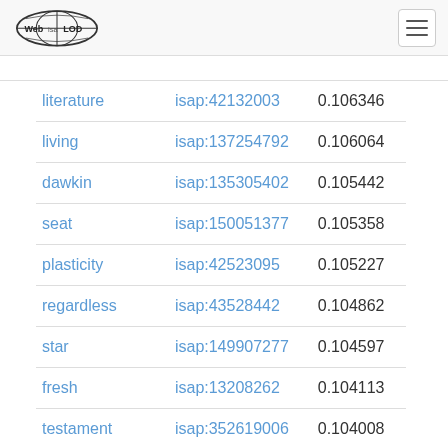Web isa LOD
|  |  |  |
| --- | --- | --- |
| literature | isap:42132003 | 0.106346 |
| living | isap:137254792 | 0.106064 |
| dawkin | isap:135305402 | 0.105442 |
| seat | isap:150051377 | 0.105358 |
| plasticity | isap:42523095 | 0.105227 |
| regardless | isap:43528442 | 0.104862 |
| star | isap:149907277 | 0.104597 |
| fresh | isap:13208262 | 0.104113 |
| testament | isap:352619006 | 0.104008 |
| paper | isap:13935681 | 0.103828 |